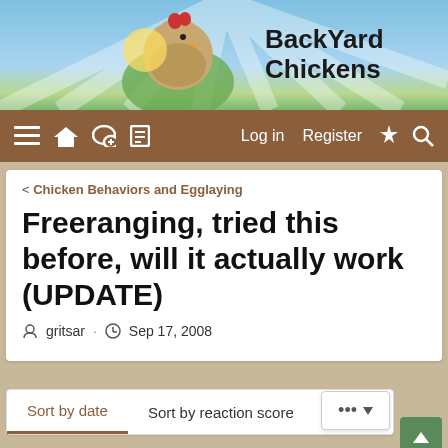[Figure (screenshot): BackYard Chickens website header with chicken mascot logo and site name]
BackYard Chickens — Log in  Register
< Chicken Behaviors and Egglaying
Freeranging, tried this before, will it actually work (UPDATE)
gritsar · Sep 17, 2008
Sort by date  Sort by reaction score
Sep 17, 2008
gritsar
Cows, Chooks &amp; Impys - OH MY!